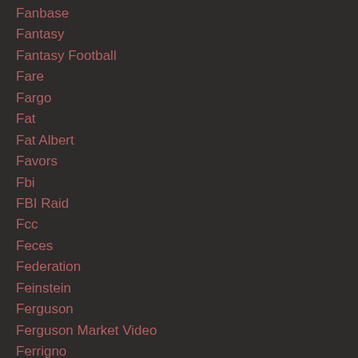Fanbase
Fantasy
Fantasy Football
Fare
Fargo
Fat
Fat Albert
Favors
Fbi
FBI Raid
Fcc
Feces
Federation
Feinstein
Ferguson
Ferguson Market Video
Ferrigno
Festival
Fighter
Fighting
Fighting Chance Solutions